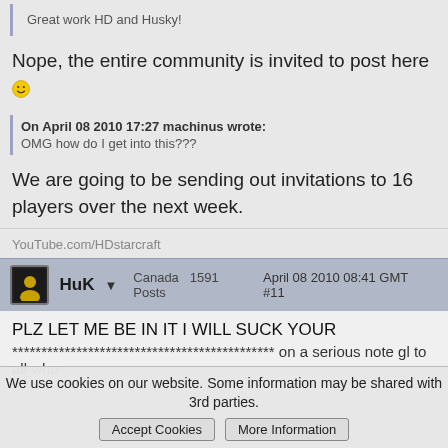Great work HD and Husky!
Nope, the entire community is invited to post here 🙂
On April 08 2010 17:27 machinus wrote:
OMG how do I get into this???
We are going to be sending out invitations to 16 players over the next week.
YouTube.com/HDstarcraft
HuK ▼   Canada   1591 Posts   April 08 2010 08:41 GMT  #11
PLZ LET ME BE IN IT I WILL SUCK YOUR
********************************************* on a serious note gl to all who
We use cookies on our website. Some information may be shared with 3rd parties.   Accept Cookies   More Information